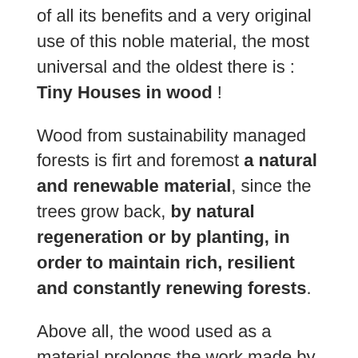of all its benefits and a very original use of this noble material, the most universal and the oldest there is : Tiny Houses in wood !
Wood from sustainability managed forests is firt and foremost a natural and renewable material, since the trees grow back, by natural regeneration or by planting, in order to maintain rich, resilient and constantly renewing forests.
Above all, the wood used as a material prolongs the work made by the trees and the CO2 absorbed and stored by the trees. When transformed to make beautiful carpentry, furniture or wooden houses, wood continues to store the CO2